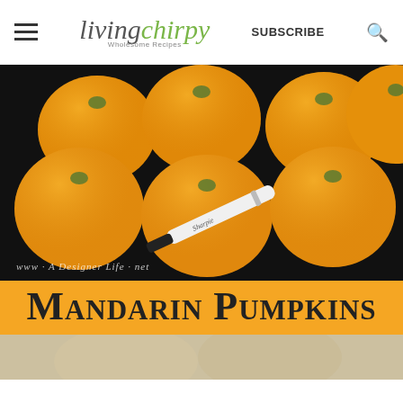living chirpy — Wholesome Recipes | SUBSCRIBE
[Figure (photo): Photo of multiple orange mandarin oranges arranged on a dark black background, with a Sharpie black marker pen lying in the foreground. Watermark text reads: www · A Designer Life · net]
Mandarin Pumpkins
[Figure (photo): Partial bottom image peek showing a blurred light-colored background, likely a follow-up photo in the article.]